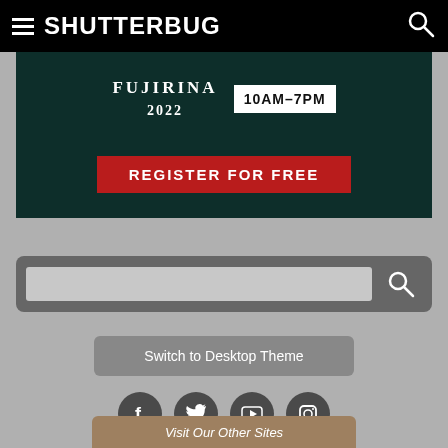SHUTTERBUG
[Figure (screenshot): Advertisement banner for FUJIRINA 2022 event, 10AM-7PM, with a red REGISTER FOR FREE button on dark green background]
[Figure (screenshot): Search bar with input field and magnifying glass icon on dark gray rounded background]
Switch to Desktop Theme
[Figure (screenshot): Social media icons: Facebook, Twitter, YouTube, Instagram, displayed as white icons on dark gray circles]
Visit Our Other Sites